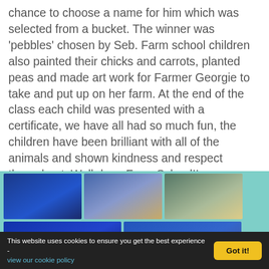chance to choose a name for him which was selected from a bucket. The winner was 'pebbles' chosen by Seb. Farm school children also painted their chicks and carrots, planted peas and made art work for Farmer Georgie to take and put up on her farm. At the end of the class each child was presented with a certificate, we have all had so much fun, the children have been brilliant with all of the animals and shown kindness and respect throughout. Well done Farm School!!
[Figure (photo): A gallery strip with a teal/mint background showing six thumbnail photos of school children in blue uniforms doing farm school activities — painting, handling items, and working at tables.]
This website uses cookies to ensure you get the best experience - view our cookie policy